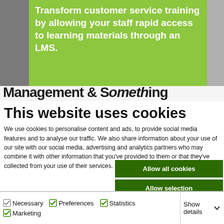Transform customer service training by allowing your staff rapid access to learning materials through an LMS.
Management & something...
This website uses cookies
We use cookies to personalise content and ads, to provide social media features and to analyse our traffic. We also share information about your use of our site with our social media, advertising and analytics partners who may combine it with other information that you've provided to them or that they've collected from your use of their services.
Allow all cookies
Allow selection
Use necessary cookies only
Necessary  Preferences  Statistics  Marketing  Show details